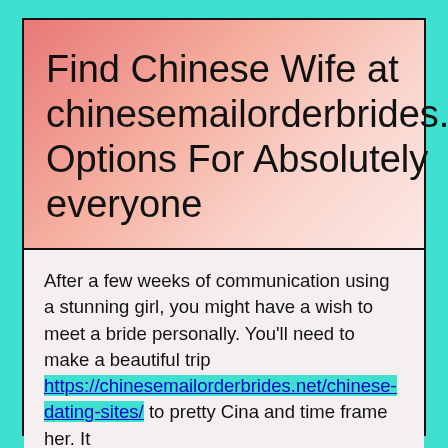Find Chinese Wife at chinesemailorderbrides.net Options For Absolutely everyone
After a few weeks of communication using a stunning girl, you might have a wish to meet a bride personally. You'll need to make a beautiful trip https://chinesemailorderbrides.net/chinese-dating-sites/ to pretty Cina and time frame her. It